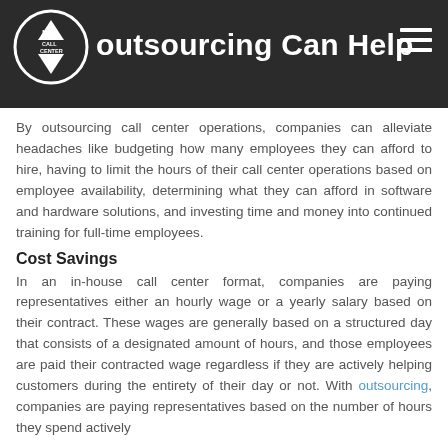Outsourcing Can Help
By outsourcing call center operations, companies can alleviate headaches like budgeting how many employees they can afford to hire, having to limit the hours of their call center operations based on employee availability, determining what they can afford in software and hardware solutions, and investing time and money into continued training for full-time employees.
Cost Savings
In an in-house call center format, companies are paying representatives either an hourly wage or a yearly salary based on their contract. These wages are generally based on a structured day that consists of a designated amount of hours, and those employees are paid their contracted wage regardless if they are actively helping customers during the entirety of their day or not. With outsourcing, companies are paying representatives based on the number of hours they spend actively